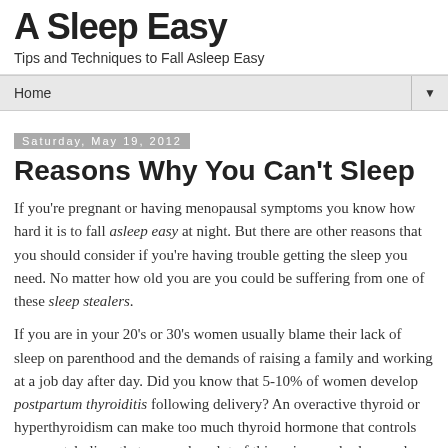A Sleep Easy
Tips and Techniques to Fall Asleep Easy
Home
Saturday, May 19, 2012
Reasons Why You Can't Sleep
If you're pregnant or having menopausal symptoms you know how hard it is to fall asleep easy at night. But there are other reasons that you should consider if you're having trouble getting the sleep you need. No matter how old you are you could be suffering from one of these sleep stealers.
If you are in your 20's or 30's women usually blame their lack of sleep on parenthood and the demands of raising a family and working at a job day after day. Did you know that 5-10% of women develop postpartum thyroiditis following delivery? An overactive thyroid or hyperthyroidism can make too much thyroid hormone that controls your metabolism that can make a lot of things in your body speed up. You lose weight,